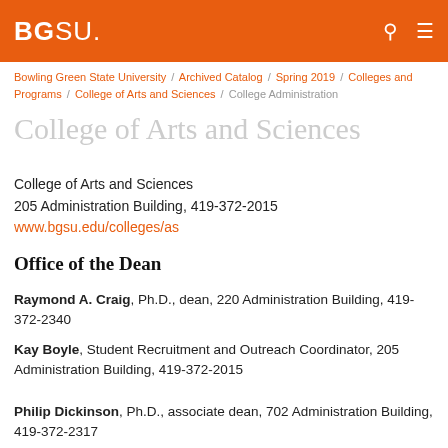BGSU.
Bowling Green State University / Archived Catalog / Spring 2019 / Colleges and Programs / College of Arts and Sciences / College Administration
College of Arts and Sciences
College of Arts and Sciences
205 Administration Building, 419-372-2015
www.bgsu.edu/colleges/as
Office of the Dean
Raymond A. Craig, Ph.D., dean, 220 Administration Building, 419-372-2340
Kay Boyle, Student Recruitment and Outreach Coordinator, 205 Administration Building, 419-372-2015
Philip Dickinson, Ph.D., associate dean, 702 Administration Building, 419-372-2317